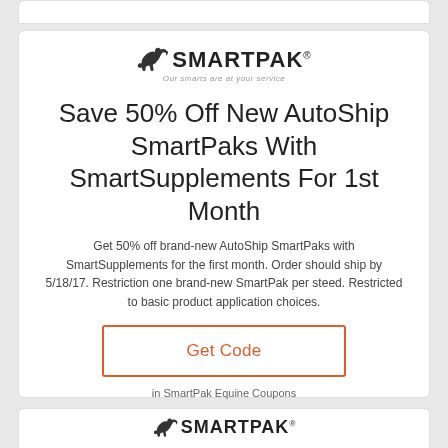[Figure (logo): SmartPak logo with horse silhouette, brand name SMARTPAK and tagline 'Our smarts are at your service']
Save 50% Off New AutoShip SmartPaks With SmartSupplements For 1st Month
Get 50% off brand-new AutoShip SmartPaks with SmartSupplements for the first month. Order should ship by 5/18/17. Restriction one brand-new SmartPak per steed. Restricted to basic product application choices.
Get Code
in SmartPak Equine Coupons
[Figure (logo): SmartPak logo with horse silhouette, brand name SMARTPAK and tagline 'Our smarts are at your service' (partial, bottom card)]